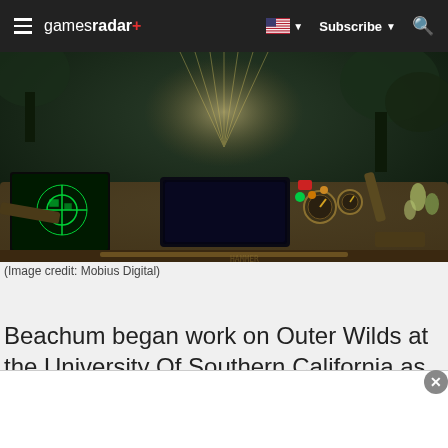gamesradar+ | Subscribe | Search
[Figure (screenshot): First-person view of a spaceship cockpit interior from the game Outer Wilds, showing control panels with screens, dials, and instruments, with trees and foliage visible through the windshield in a dimly lit environment.]
(Image credit: Mobius Digital)
Beachum began work on Outer Wilds at the University Of Southern California as part of the Interactive Media...